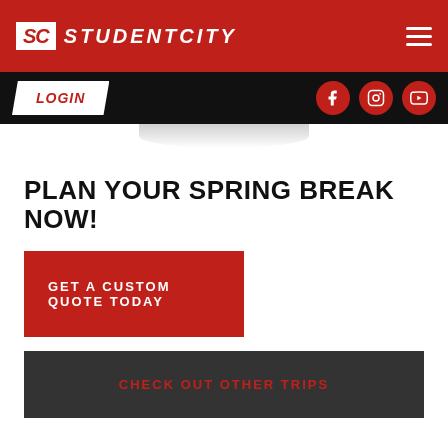SC STUDENTCITY
LOGIN
PLAN YOUR SPRING BREAK NOW!
GET A CUSTOM QUOTE TODAY
CHECK OUT OTHER TRIPS